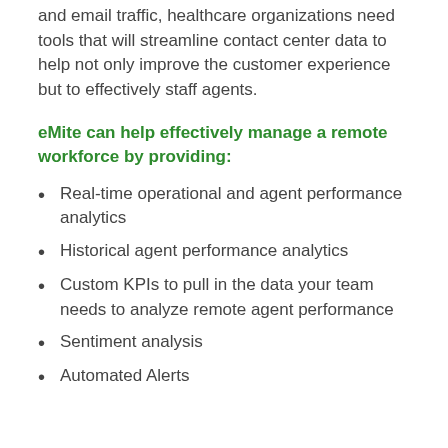and email traffic, healthcare organizations need tools that will streamline contact center data to help not only improve the customer experience but to effectively staff agents.
eMite can help effectively manage a remote workforce by providing:
Real-time operational and agent performance analytics
Historical agent performance analytics
Custom KPIs to pull in the data your team needs to analyze remote agent performance
Sentiment analysis
Automated Alerts